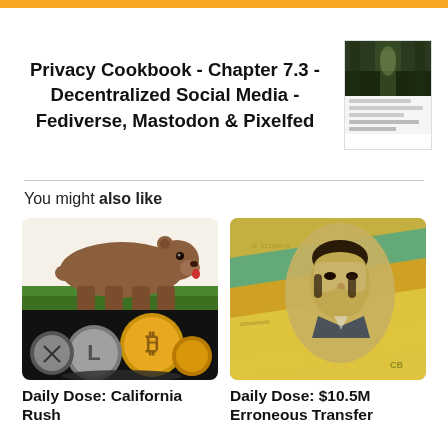Privacy Cookbook - Chapter 7.3 - Decentralized Social Media - Fediverse, Mastodon & Pixelfed
You might also like
[Figure (photo): California Republic bear flag above cryptocurrency coins (Bitcoin, Litecoin, others)]
Daily Dose: California Rush
[Figure (photo): Australian banknotes fanned out showing portrait of figure]
Daily Dose: $10.5M Erroneous Transfer